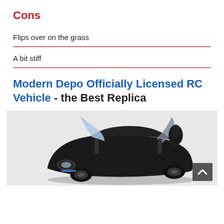Cons
Flips over on the grass
A bit stiff
Modern Depo Officially Licensed RC Vehicle - the Best Replica
[Figure (photo): Black RC car model with open scissor doors, photographed from above-front angle on light background]